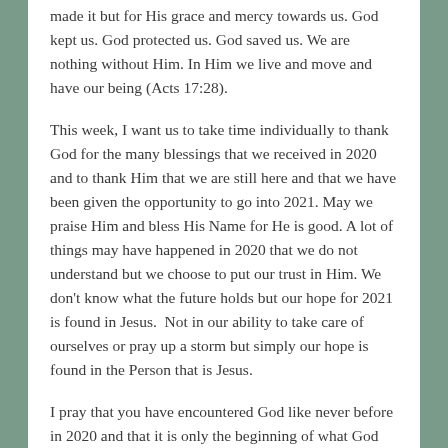made it but for His grace and mercy towards us. God kept us. God protected us. God saved us. We are nothing without Him. In Him we live and move and have our being (Acts 17:28).
This week, I want us to take time individually to thank God for the many blessings that we received in 2020 and to thank Him that we are still here and that we have been given the opportunity to go into 2021. May we praise Him and bless His Name for He is good. A lot of things may have happened in 2020 that we do not understand but we choose to put our trust in Him. We don't know what the future holds but our hope for 2021 is found in Jesus. Not in our ability to take care of ourselves or pray up a storm but simply our hope is found in the Person that is Jesus.
I pray that you have encountered God like never before in 2020 and that it is only the beginning of what God has prepared for you in 2021.